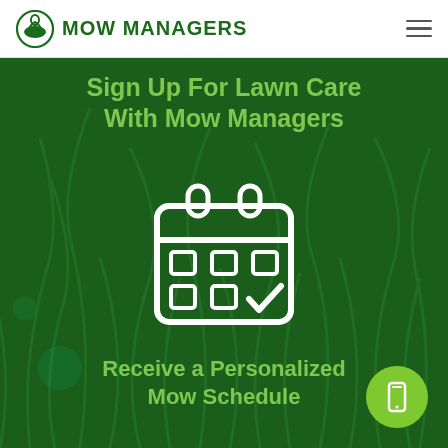MOW MANAGERS
Sign Up For Lawn Care With Mow Managers
[Figure (illustration): White outline calendar icon with check mark on dark green grass background]
Receive a Personalized Mow Schedule